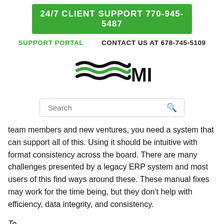24/7 CLIENT SUPPORT 770-945-5487
SUPPORT PORTAL   CONTACT US AT 678-745-5109
[Figure (logo): MIS logo with wave/stripe graphic in green and black]
Search
team members and new ventures, you need a system that can support all of this. Using it should be intuitive with format consistency across the board. There are many challenges presented by a legacy ERP system and most users of this find ways around these. These manual fixes may work for the time being, but they don't help with efficiency, data integrity, and consistency.
To make — (partial text cut off at bottom)